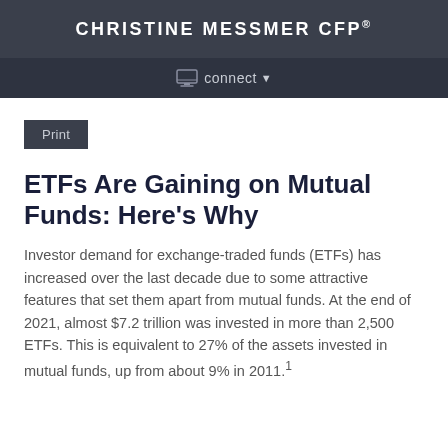CHRISTINE MESSMER CFP®
connect
Print
ETFs Are Gaining on Mutual Funds: Here's Why
Investor demand for exchange-traded funds (ETFs) has increased over the last decade due to some attractive features that set them apart from mutual funds. At the end of 2021, almost $7.2 trillion was invested in more than 2,500 ETFs. This is equivalent to 27% of the assets invested in mutual funds, up from about 9% in 2011.1